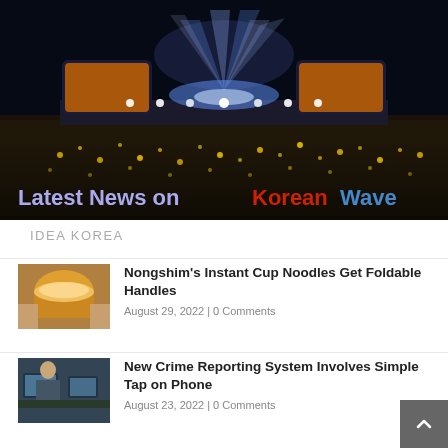[Figure (photo): Concert scene at night with large crowd and stage with dramatic lighting. Text overlay reads 'Latest News on Korean Wave']
IDEA KOREA
[Figure (photo): Photo of person holding an instant cup noodle with foldable handle]
Nongshim's Instant Cup Noodles Get Foldable Handles
August 29, 2022 | 0 Comments
[Figure (photo): Photo of person working at computer, crime reporting scene]
New Crime Reporting System Involves Simple Tap on Phone
August 23, 2022 | 0 Comments